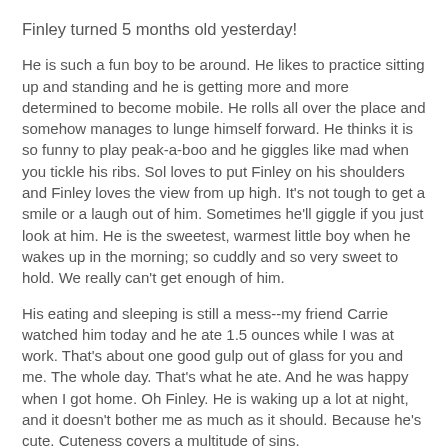Finley turned 5 months old yesterday!
He is such a fun boy to be around. He likes to practice sitting up and standing and he is getting more and more determined to become mobile. He rolls all over the place and somehow manages to lunge himself forward. He thinks it is so funny to play peak-a-boo and he giggles like mad when you tickle his ribs. Sol loves to put Finley on his shoulders and Finley loves the view from up high. It's not tough to get a smile or a laugh out of him. Sometimes he'll giggle if you just look at him. He is the sweetest, warmest little boy when he wakes up in the morning; so cuddly and so very sweet to hold. We really can't get enough of him.
His eating and sleeping is still a mess--my friend Carrie watched him today and he ate 1.5 ounces while I was at work. That's about one good gulp out of glass for you and me. The whole day. That's what he ate. And he was happy when I got home. Oh Finley. He is waking up a lot at night, and it doesn't bother me as much as it should. Because he's cute. Cuteness covers a multitude of sins.